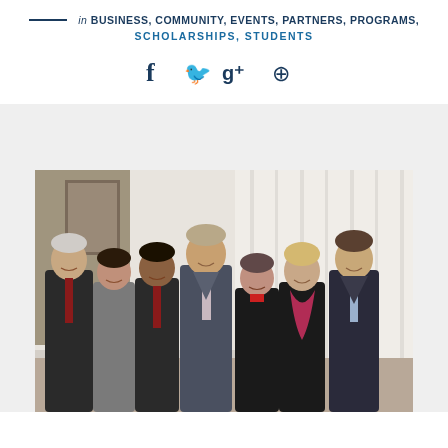in BUSINESS, COMMUNITY, EVENTS, PARTNERS, PROGRAMS, SCHOLARSHIPS, STUDENTS
[Figure (other): Social media icons: Facebook, Twitter, Google+, Pinterest in dark blue]
[Figure (photo): Group photo of seven professionals (four men and three women) posing together indoors, smiling at the camera. They are dressed in business formal attire. Background shows a brick wall and drapes.]